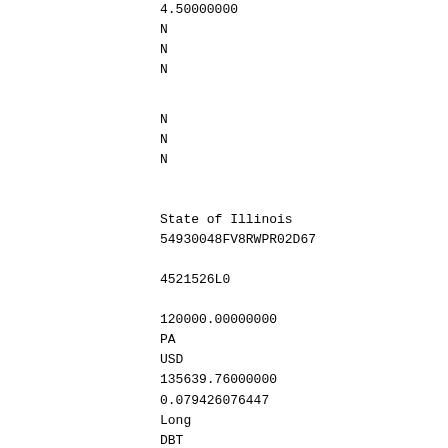4.50000000
N
N
N
N
N
N
State of Illinois
54930048FV8RWPR02D67

4521526L0
120000.00000000
PA
USD
135639.76000000
0.079426076447
Long
DBT
MUN
US
N